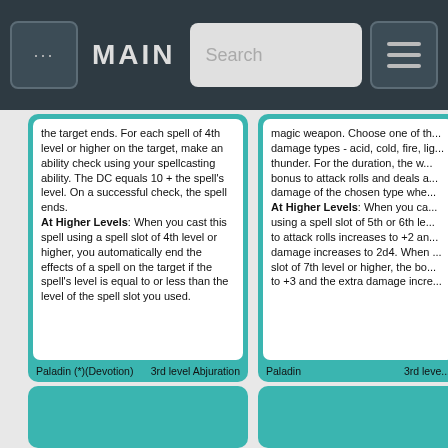... MAIN Search
the target ends. For each spell of 4th level or higher on the target, make an ability check using your spellcasting ability. The DC equals 10 + the spell's level. On a successful check, the spell ends. At Higher Levels: When you cast this spell using a spell slot of 4th level or higher, you automatically end the effects of a spell on the target if the spell's level is equal to or less than the level of the spell slot you used.
magic weapon. Choose one of the damage types - acid, cold, fire, lig... thunder. For the duration, the w... bonus to attack rolls and deals a... damage of the chosen type whe... At Higher Levels: When you ca... using a spell slot of 5th or 6th le... to attack rolls increases to +2 an... damage increases to 2d4. When ... slot of 7th level or higher, the bo... to +3 and the extra damage incre...
Paladin (*)(Devotion)    3rd level Abjuration
Paladin    3rd leve...